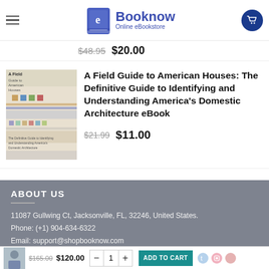Booknow Online eBookstore
$48.95  $20.00
[Figure (illustration): Book cover thumbnail for A Field Guide to American Houses]
A Field Guide to American Houses: The Definitive Guide to Identifying and Understanding America's Domestic Architecture eBook
$21.99  $11.00
ABOUT US
11087 Gullwing Ct, Jacksonville, FL, 32246, United States.
Phone: (+1) 904-634-6322
Email: support@shopbooknow.com
$165.00  $120.00  - 1 +  ADD TO CART